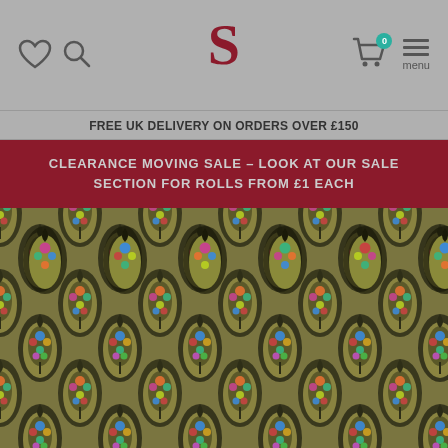S [navigation bar with heart, search, cart (0), menu icons]
FREE UK DELIVERY ON ORDERS OVER £150
CLEARANCE MOVING SALE – LOOK AT OUR SALE SECTION FOR ROLLS FROM £1 EACH
[Figure (photo): Close-up product photo of colourful ornate wallpaper or fabric with ogee/teardrop pattern on olive/khaki background featuring multicoloured floral motifs in pink, blue, green, orange, yellow and teal]